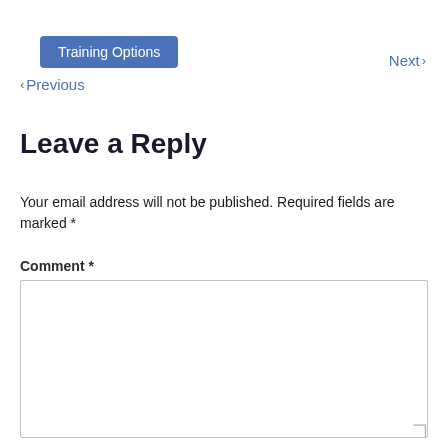Training Options
Next ›
‹ Previous
Leave a Reply
Your email address will not be published. Required fields are marked *
Comment *